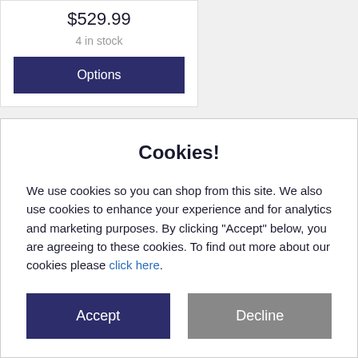$529.99
4 in stock
Options
Cookies!
We use cookies so you can shop from this site. We also use cookies to enhance your experience and for analytics and marketing purposes. By clicking "Accept" below, you are agreeing to these cookies. To find out more about our cookies please click here.
Accept
Decline